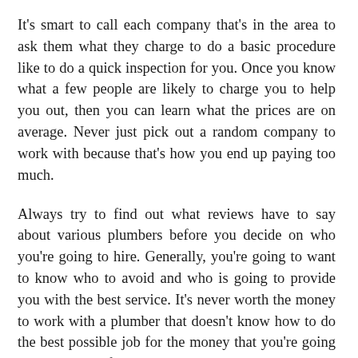It's smart to call each company that's in the area to ask them what they charge to do a basic procedure like to do a quick inspection for you. Once you know what a few people are likely to charge you to help you out, then you can learn what the prices are on average. Never just pick out a random company to work with because that's how you end up paying too much.
Always try to find out what reviews have to say about various plumbers before you decide on who you're going to hire. Generally, you're going to want to know who to avoid and who is going to provide you with the best service. It's never worth the money to work with a plumber that doesn't know how to do the best possible job for the money that you're going to pay them. If they are new to this, that's another reason